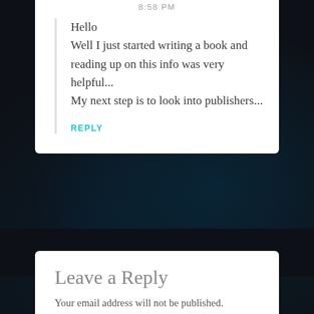8:58 PM
Hello
Well I just started writing a book and reading up on this info was very helpful...
My next step is to look into publishers...
REPLY
Leave a Reply
Your email address will not be published. Required